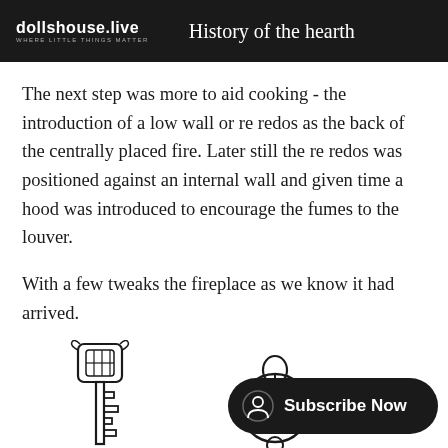dollshouse.live — History of the hearth
The next step was more to aid cooking - the introduction of a low wall or re redos as the back of the centrally placed fire. Later still the re redos was positioned against an internal wall and given time a hood was introduced to encourage the fumes to the louver.
With a few tweaks the fireplace as we know it had arrived.
[Figure (illustration): Line drawing of an antique ornate key]
[Figure (illustration): Line drawing of a key ring with circular rings]
[Figure (other): Subscribe Now button with user icon]